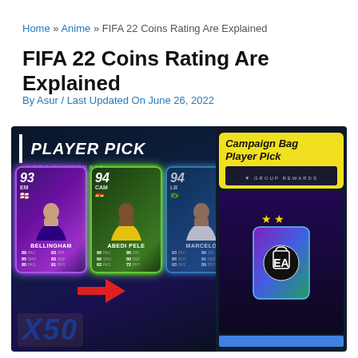Home » Anime » FIFA 22 Coins Rating Are Explained
FIFA 22 Coins Rating Are Explained
By Asur / Last Updated On June 26, 2022
[Figure (screenshot): Screenshot from FIFA 22 showing Player Pick interface with three player cards (Bellingham 93, Abedi Pele 94, Marcelo 94) on left panel, and Campaign Bag Player Pick on right panel, with X50 label and red arrow]